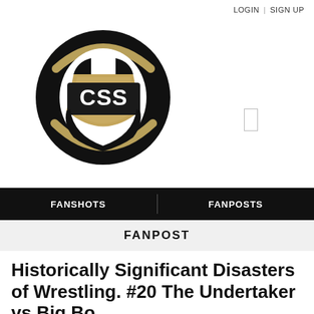LOGIN | SIGN UP
[Figure (logo): CSS logo: black circle with gold shield shape and CSS text in bold black letters]
FANSHOTS  FANPOSTS
FANPOST
Historically Significant Disasters of Wrestling. #20 The Undertaker vs Big Bo...